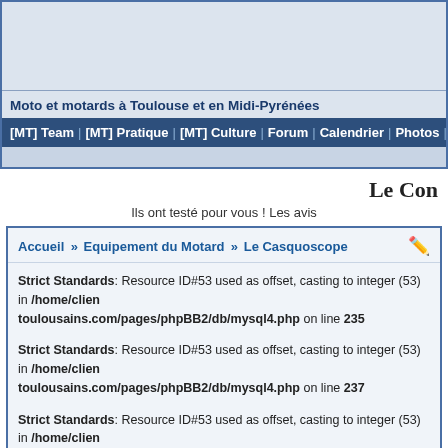[Figure (screenshot): Website header with advertisement banner area, light blue gradient background]
Moto et motards à Toulouse et en Midi-Pyrénées
[MT] Team | [MT] Pratique | [MT] Culture | Forum | Calendrier | Photos | Videos |
Le Con
Ils ont testé pour vous ! Les avis
Accueil » Equipement du Motard » Le Casquoscope
Strict Standards: Resource ID#53 used as offset, casting to integer (53) in /home/clien toulousains.com/pages/phpBB2/db/mysql4.php on line 235
Strict Standards: Resource ID#53 used as offset, casting to integer (53) in /home/clien toulousains.com/pages/phpBB2/db/mysql4.php on line 237
Strict Standards: Resource ID#53 used as offset, casting to integer (53) in /home/clien toulousains.com/pages/phpBB2/db/mysql4.php on line 235
Strict Standards: Resource ID#53 used as offset, casting to integer (53) in /home/clien toulousains.com/pages/phpBB2/db/mysql4.php on line 237
Strict Standards: Resource ID#53 used as offset, casting to integer (53) in /home/clien